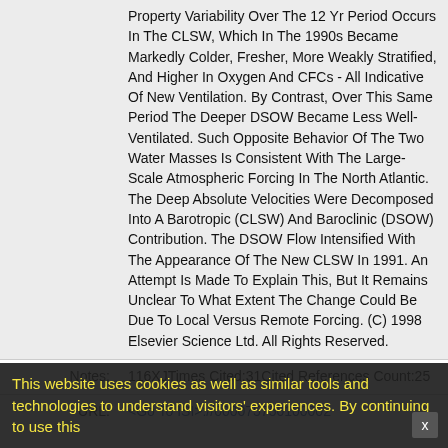Property Variability Over The 12 Yr Period Occurs In The CLSW, Which In The 1990s Became Markedly Colder, Fresher, More Weakly Stratified, And Higher In Oxygen And CFCs - All Indicative Of New Ventilation. By Contrast, Over This Same Period The Deeper DSOW Became Less Well-Ventilated. Such Opposite Behavior Of The Two Water Masses Is Consistent With The Large-Scale Atmospheric Forcing In The North Atlantic. The Deep Absolute Velocities Were Decomposed Into A Barotropic (CLSW) And Baroclinic (DSOW) Contribution. The DSOW Flow Intensified With The Appearance Of The New CLSW In 1991. An Attempt Is Made To Explain This, But It Remains Unclear To What Extent The Change Could Be Due To Local Versus Remote Forcing. (C) 1998 Elsevier Science Ltd. All Rights Reserved.
Notes: 116XJTimes Cited:31Cited References Count:25
URL: <Go To ISI>://000075750100002
This website uses cookies as well as similar tools and technologies to understand visitors' experiences. By continuing to use this